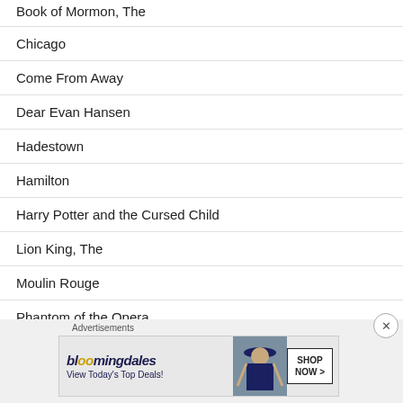Book of Mormon, The
Chicago
Come From Away
Dear Evan Hansen
Hadestown
Hamilton
Harry Potter and the Cursed Child
Lion King, The
Moulin Rouge
Phantom of the Opera
Wicked
[Figure (other): Bloomingdale's advertisement banner with text 'View Today's Top Deals!' and SHOP NOW button]